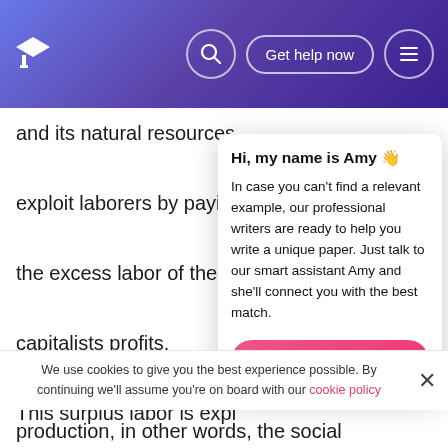Get help now
and its natural resources.

exploit laborers by paying

the excess labor of the la

capitalists profits.

This surplus labor is expl

forces the laborer into un

conditions — something

severe during the 19th ce

analysis of history is based on his distinction between the means of production, literally those things, like land and natural resources, and technology, that are necessary for the production, in other words, the social relationships people
[Figure (screenshot): Chat popup from Amy offering professional writing help, with a pink 'Get help with your paper' button]
We use cookies to give you the best experience possible. By continuing we'll assume you're on board with our cookie policy